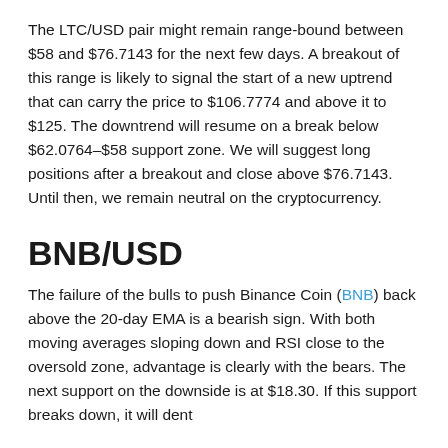The LTC/USD pair might remain range-bound between $58 and $76.7143 for the next few days. A breakout of this range is likely to signal the start of a new uptrend that can carry the price to $106.7774 and above it to $125. The downtrend will resume on a break below $62.0764–$58 support zone. We will suggest long positions after a breakout and close above $76.7143. Until then, we remain neutral on the cryptocurrency.
BNB/USD
The failure of the bulls to push Binance Coin (BNB) back above the 20-day EMA is a bearish sign. With both moving averages sloping down and RSI close to the oversold zone, advantage is clearly with the bears. The next support on the downside is at $18.30. If this support breaks down, it will dent